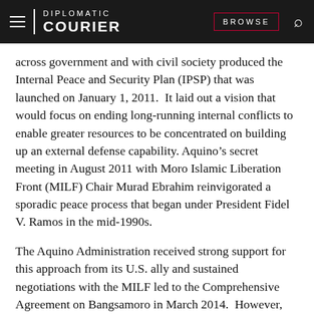DIPLOMATIC COURIER
across government and with civil society produced the Internal Peace and Security Plan (IPSP) that was launched on January 1, 2011. It laid out a vision that would focus on ending long-running internal conflicts to enable greater resources to be concentrated on building up an external defense capability. Aquino's secret meeting in August 2011 with Moro Islamic Liberation Front (MILF) Chair Murad Ebrahim reinvigorated a sporadic peace process that began under President Fidel V. Ramos in the mid-1990s.
The Aquino Administration received strong support for this approach from its U.S. ally and sustained negotiations with the MILF led to the Comprehensive Agreement on Bangsamoro in March 2014. However, the MILF recently marked the second anniversary of the